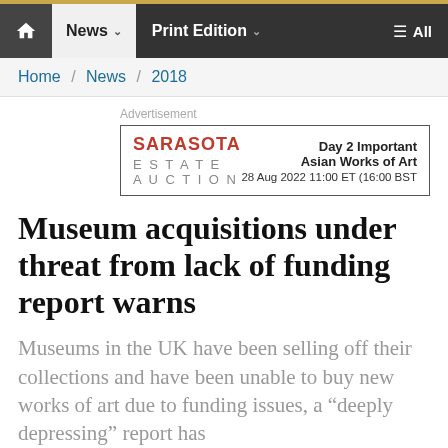News | Print Edition | All
Home / News / 2018
Advertisement
[Figure (other): Sarasota Estate Auction advertisement. Day 2 Important Asian Works of Art. 28 Aug 2022 11:00 ET (16:00 BST)]
Museum acquisitions under threat from lack of funding report warns
Museums in the UK have been selling off their collections and have been unable to buy new works of art due to funding issues, a “deeply depressing” report has